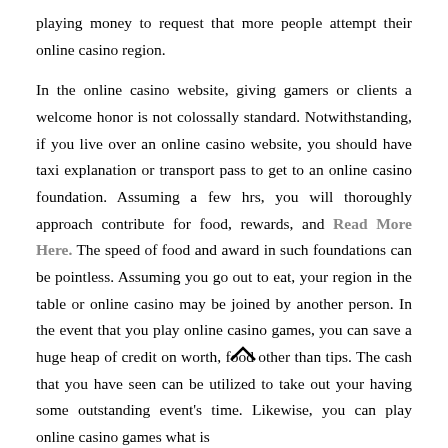playing money to request that more people attempt their online casino region.

In the online casino website, giving gamers or clients a welcome honor is not colossally standard. Notwithstanding, if you live over an online casino website, you should have taxi explanation or transport pass to get to an online casino foundation. Assuming a few hrs, you will thoroughly approach contribute for food, rewards, and Read More Here. The speed of food and award in such foundations can be pointless. Assuming you go out to eat, your region in the table or online casino may be joined by another person. In the event that you play online casino games, you can save a huge heap of credit on worth, food other than tips. The cash that you have seen can be utilized to take out your having some outstanding event's time. Likewise, you can play online casino games what is